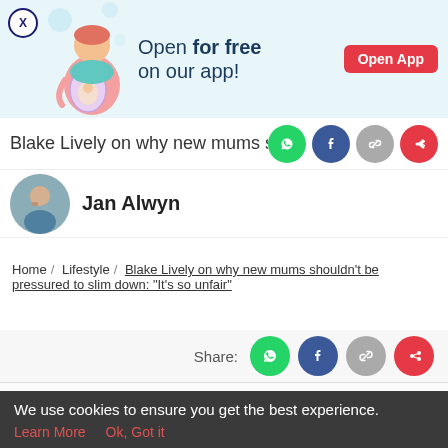[Figure (illustration): App advertisement banner with pregnant woman illustration, 'Open for free on our app!' text, and red 'Open App' button]
Blake Lively on why new mums shou
[Figure (photo): Author avatar - photo of a person with hand on chin]
Jan Alwyn
Home / Lifestyle / Blake Lively on why new mums shouldn't be pressured to slim down: "It's so unfair"
Share:
Tools
Articles
Feed
Poll
We use cookies to ensure you get the best experience.
Learn More
Ok, Got it